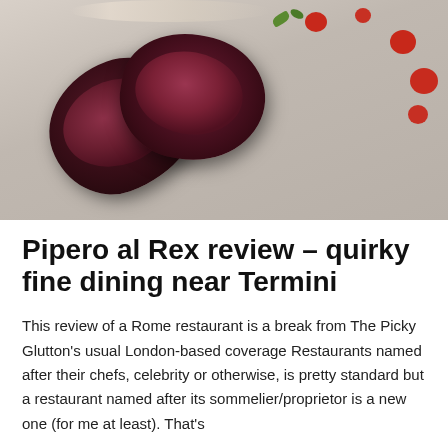[Figure (photo): Close-up photo of two slices of cooked meat (duck or similar) with a deep purple-red interior, plated on a white surface with red sauce drops and green garnish]
Pipero al Rex review – quirky fine dining near Termini
This review of a Rome restaurant is a break from The Picky Glutton's usual London-based coverage Restaurants named after their chefs, celebrity or otherwise, is pretty standard but a restaurant named after its sommelier/proprietor is a new one (for me at least). That's